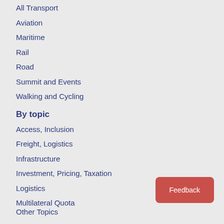All Transport
Aviation
Maritime
Rail
Road
Summit and Events
Walking and Cycling
By topic
Access, Inclusion
Freight, Logistics
Infrastructure
Investment, Pricing, Taxation
Logistics
Multilateral Quota
Other Topics